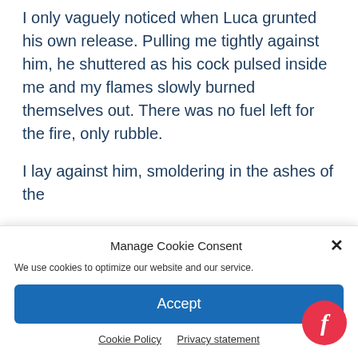I only vaguely noticed when Luca grunted his own release. Pulling me tightly against him, he shuttered as his cock pulsed inside me and my flames slowly burned themselves out. There was no fuel left for the fire, only rubble.
I lay against him, smoldering in the ashes of the
Manage Cookie Consent
We use cookies to optimize our website and our service.
Accept
Cookie Policy   Privacy statement